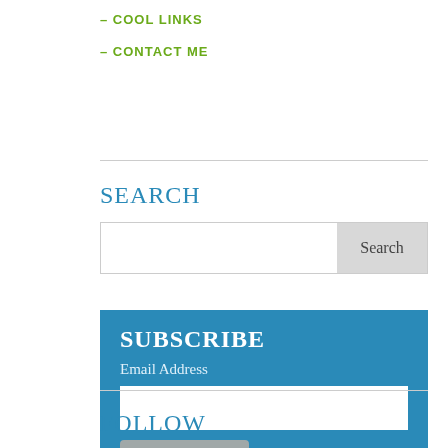COOL LINKS
CONTACT ME
SEARCH
Search input field with Search button
SUBSCRIBE
Email Address
Sign me up!
FOLLOW